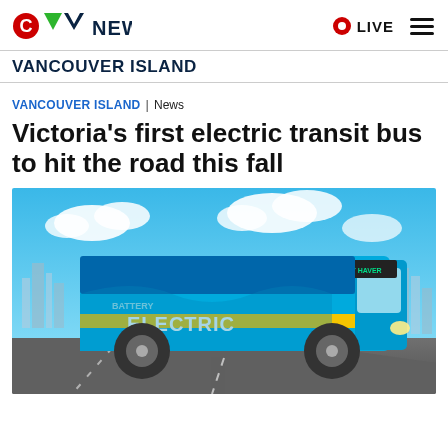CTV NEWS  LIVE
VANCOUVER ISLAND
VANCOUVER ISLAND | News
Victoria's first electric transit bus to hit the road this fall
[Figure (photo): A blue electric transit bus with 'BATTERY ELECTRIC' written on the side in large letters, driving on a highway with a city skyline and blue sky with clouds in the background. The bus has a yellow stripe and displays 'LANGLEY HAVER' on the destination board.]